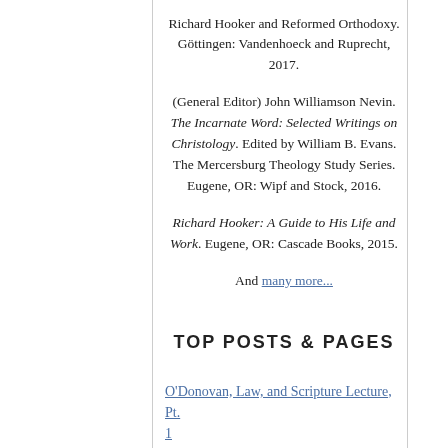Richard Hooker and Reformed Orthodoxy. Göttingen: Vandenhoeck and Ruprecht, 2017.
(General Editor) John Williamson Nevin. The Incarnate Word: Selected Writings on Christology. Edited by William B. Evans. The Mercersburg Theology Study Series. Eugene, OR: Wipf and Stock, 2016.
Richard Hooker: A Guide to His Life and Work. Eugene, OR: Cascade Books, 2015.
And many more...
TOP POSTS & PAGES
O'Donovan, Law, and Scripture Lecture, Pt. 1